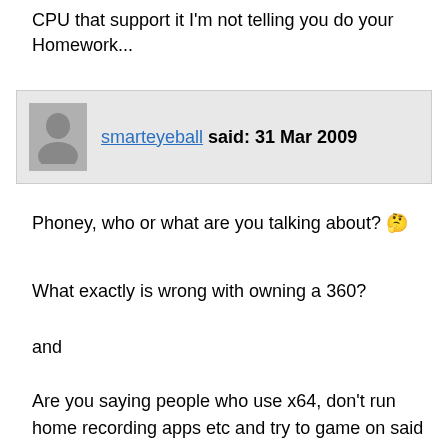CPU that support it I'm not telling you do your Homework...
smarteyeball said: 31 Mar 2009
Phoney, who or what are you talking about? 🤔
What exactly is wrong with owning a 360?
and
Are you saying people who use x64, don't run home recording apps etc and try to game on said x64, are somehow stupid for trying to do so?
If so, I've got news for you, I've never encountered a single